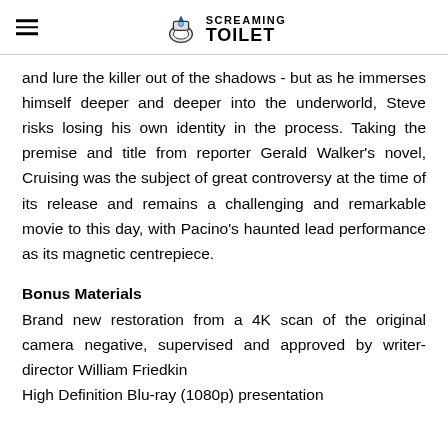SCREAMING TOILET
and lure the killer out of the shadows - but as he immerses himself deeper and deeper into the underworld, Steve risks losing his own identity in the process. Taking the premise and title from reporter Gerald Walker's novel, Cruising was the subject of great controversy at the time of its release and remains a challenging and remarkable movie to this day, with Pacino's haunted lead performance as its magnetic centrepiece.
Bonus Materials
Brand new restoration from a 4K scan of the original camera negative, supervised and approved by writer-director William Friedkin
High Definition Blu-ray (1080p) presentation